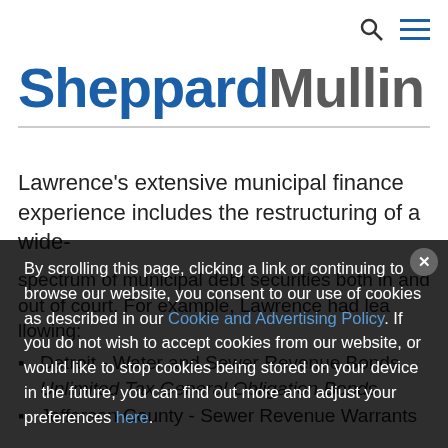Sheppard Mullin [navigation icons]
SheppardMullin
Lawrence's extensive municipal finance experience includes the restructuring of a wide-spectrum of municipal debt securities both in and out of court. For example, Lawrence had lea... llowing:
Detroit - Water and Sewer Revenue Bonds, Unlimited Tax General Obligation Bonds
Jefferson County - Sewer Revenue Warrants
By scrolling this page, clicking a link or continuing to browse our website, you consent to our use of cookies as described in our Cookie and Advertising Policy. If you do not wish to accept cookies from our website, or would like to stop cookies being stored on your device in the future, you can find out more and adjust your preferences here.